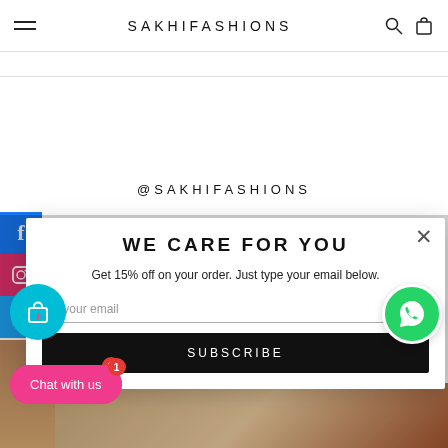SAKHIFASHIONS
@SAKHIFASHIONS
[Figure (screenshot): Modal popup overlay on fashion website with email subscription form, floating cart icon, chat button, and WhatsApp button]
WE CARE FOR YOU
Get 15% off on your order. Just type your email below.
SUBSCRIBE
Chat with us